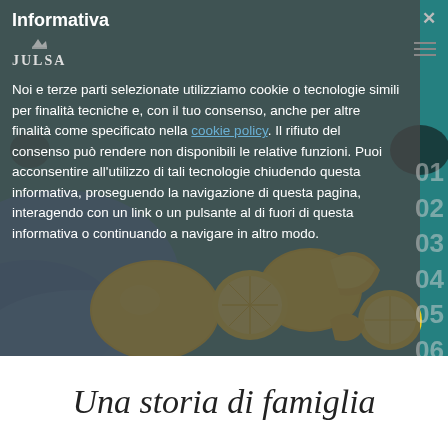[Figure (photo): Background photo of lemons and lemon slices on a teal/turquoise surface with blue fabric, partially obscured by a semi-transparent gray cookie consent modal overlay. Numbers 01–06 are displayed on the right side over the photo.]
Informativa
Noi e terze parti selezionate utilizziamo cookie o tecnologie simili per finalità tecniche e, con il tuo consenso, anche per altre finalità come specificato nella cookie policy. Il rifiuto del consenso può rendere non disponibili le relative funzioni. Puoi acconsentire all'utilizzo di tali tecnologie chiudendo questa informativa, proseguendo la navigazione di questa pagina, interagendo con un link o un pulsante al di fuori di questa informativa o continuando a navigare in altro modo.
Una storia di famiglia